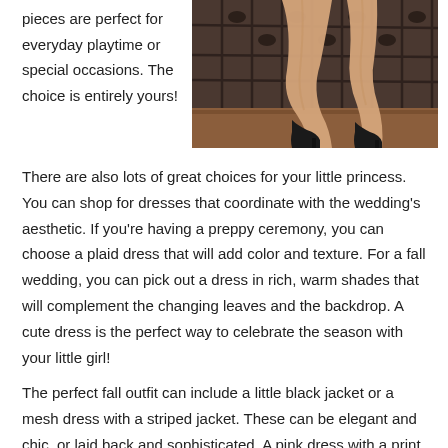pieces are perfect for everyday playtime or special occasions. The choice is entirely yours!
[Figure (photo): Photo of a woman's legs in black high heels against a decorative iron gate backdrop with warm brown floor tones]
There are also lots of great choices for your little princess. You can shop for dresses that coordinate with the wedding's aesthetic. If you're having a preppy ceremony, you can choose a plaid dress that will add color and texture. For a fall wedding, you can pick out a dress in rich, warm shades that will complement the changing leaves and the backdrop. A cute dress is the perfect way to celebrate the season with your little girl!
The perfect fall outfit can include a little black jacket or a mesh dress with a striped jacket. These can be elegant and chic, or laid back and sophisticated. A pink dress with a print skirt or rose-blocked skirt is a delightful and affordable option. You can choose a dress for your girl in several ways, according to her taste and